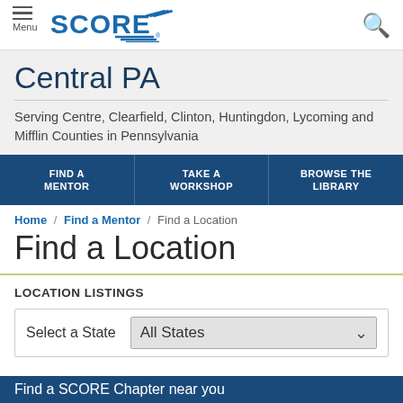[Figure (logo): SCORE logo with menu icon and search icon in header]
Central PA
Serving Centre, Clearfield, Clinton, Huntingdon, Lycoming and Mifflin Counties in Pennsylvania
FIND A MENTOR | TAKE A WORKSHOP | BROWSE THE LIBRARY
Home / Find a Mentor / Find a Location
Find a Location
LOCATION LISTINGS
Select a State  All States
Find a SCORE Chapter near you